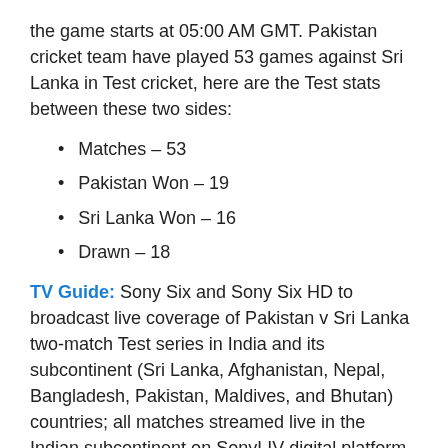the game starts at 05:00 AM GMT. Pakistan cricket team have played 53 games against Sri Lanka in Test cricket, here are the Test stats between these two sides:
Matches – 53
Pakistan Won – 19
Sri Lanka Won – 16
Drawn – 18
TV Guide: Sony Six and Sony Six HD to broadcast live coverage of Pakistan v Sri Lanka two-match Test series in India and its subcontinent (Sri Lanka, Afghanistan, Nepal, Bangladesh, Pakistan, Maldives, and Bhutan) countries; all matches streamed live in the Indian subcontinent on SonyLIV digital platform (Website, App).
PTV Sports and Ten Sports are the official broadcasters in Pakistan for the Pakistan v Sri Lanka test series, PTV Sports own exclusive telecast rights for the all matches played in